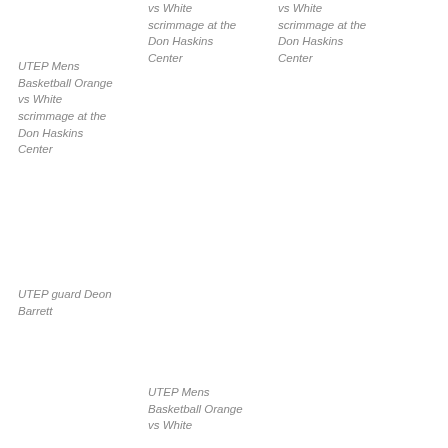vs White scrimmage at the Don Haskins Center
vs White scrimmage at the Don Haskins Center
UTEP Mens Basketball Orange vs White scrimmage at the Don Haskins Center
UTEP guard Deon Barrett
UTEP Mens Basketball Orange vs White